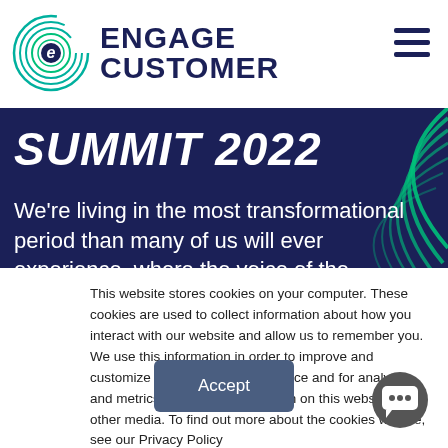[Figure (logo): Engage Customer logo with circular 'e' icon and hamburger menu icon]
SUMMIT 2022
We're living in the most transformational period than many of us will ever experience, where the voice of the customer and the experiential aspect of CX is more important than ever. Under the overarching
This website stores cookies on your computer. These cookies are used to collect information about how you interact with our website and allow us to remember you. We use this information in order to improve and customize your browsing experience and for analytics and metrics about our visitors both on this website and other media. To find out more about the cookies we use, see our Privacy Policy
Accept